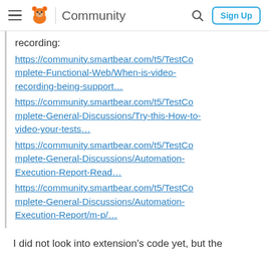Community | Sign Up
recording:
https://community.smartbear.com/t5/TestComplete-Functional-Web/When-is-video-recording-being-support…
https://community.smartbear.com/t5/TestComplete-General-Discussions/Try-this-How-to-video-your-tests…
https://community.smartbear.com/t5/TestComplete-General-Discussions/Automation-Execution-Report-Read…
https://community.smartbear.com/t5/TestComplete-General-Discussions/Automation-Execution-Report/m-p/…
I did not look into extension's code yet, but the